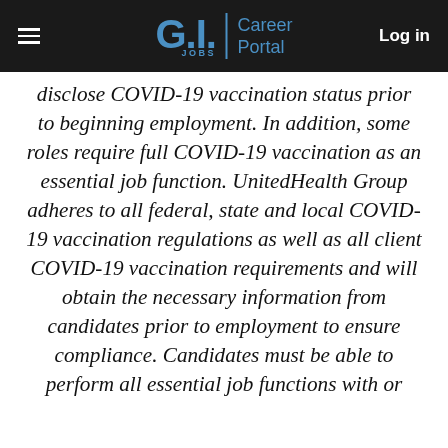GI.JOBS | Career Portal  Log in
disclose COVID-19 vaccination status prior to beginning employment. In addition, some roles require full COVID-19 vaccination as an essential job function. UnitedHealth Group adheres to all federal, state and local COVID-19 vaccination regulations as well as all client COVID-19 vaccination requirements and will obtain the necessary information from candidates prior to employment to ensure compliance. Candidates must be able to perform all essential job functions with or